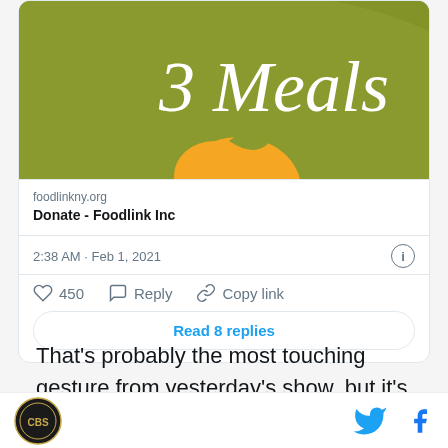[Figure (screenshot): Tweet card showing a Foodlink Inc donation post with an olive-green banner reading '3 Meals', an orange fruit graphic, link preview for foodlinkny.org showing 'Donate - Foodlink Inc', timestamp '2:38 AM · Feb 1, 2021', 450 likes, Reply and Copy link actions, and a 'Read 8 replies' button]
That's probably the most touching gesture from yesterday's show, but it's not the only one. Knoxville,
[Figure (logo): Circular CBS logo badge in black and gold]
[Figure (logo): Twitter bird icon in blue and Facebook 'f' icon in blue]